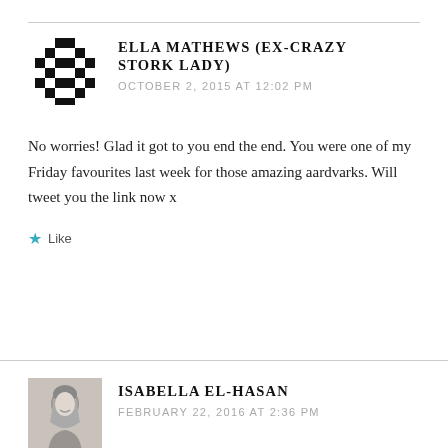[Figure (illustration): Pixel-art avatar icon, black and white geometric diamond/cross pattern]
ELLA MATHEWS (EX-CRAZY STORK LADY)
OCTOBER 2, 2015 AT 12:02 PM
No worries! Glad it got to you end the end. You were one of my Friday favourites last week for those amazing aardvarks. Will tweet you the link now x
Like
[Figure (photo): Black and white headshot photo of Isabella El-Hasan, a woman smiling]
ISABELLA EL-HASAN
FEBRUARY 22, 2016 AT 2:36 PM